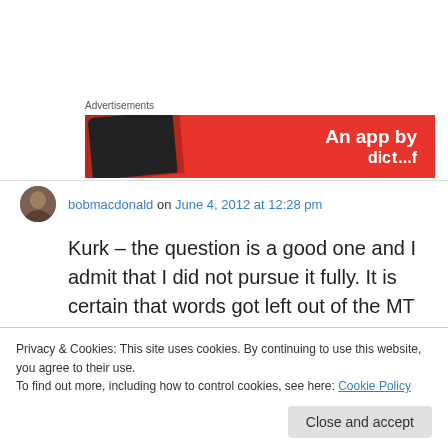[Figure (other): Red advertisement banner with text 'An app by' and partial second line, with a dark phone image on the left]
bobmacdonald on June 4, 2012 at 12:28 pm
Kurk – the question is a good one and I admit that I did not pursue it fully. It is certain that words got left out of the MT in some cases. The
Privacy & Cookies: This site uses cookies. By continuing to use this website, you agree to their use.
To find out more, including how to control cookies, see here: Cookie Policy
The extra words (given my limited Greek) are in